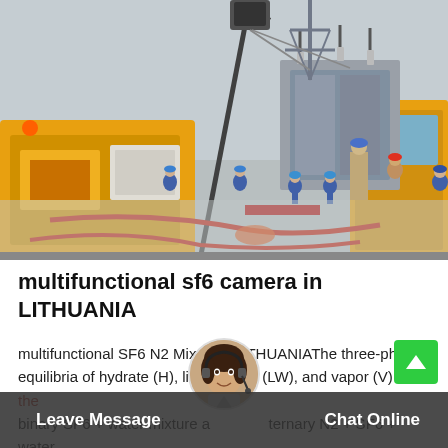[Figure (photo): Workers in blue uniforms at an electrical substation. Yellow utility vehicles on sides. A crane/lift arm visible at top center. High-voltage power transformer equipment. Snowy/wet ground with red hoses. Winter outdoor setting.]
multifunctional sf6 camera in LITHUANIA
multifunctional SF6 N2 Mixtures LITHUANIAThe three-phase equilibria of hydrate (H), liquid water (LW), and vapor (V) for the binary SF6 + water mixture and ternary N2 + SF6 + water mixtures with various SF6 vapor compositions (10, 30, 50, and...